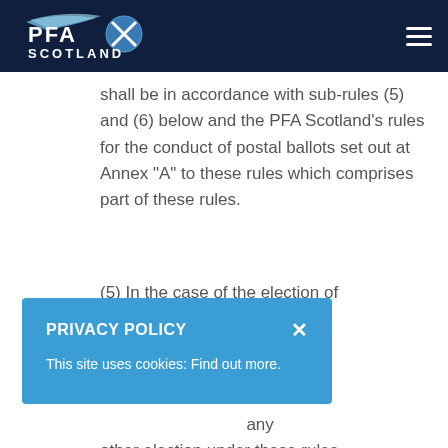PFA Scotland
shall be in accordance with sub-rules (5) and (6) below and the PFA Scotland’s rules for the conduct of postal ballots set out at Annex “A” to these rules which comprises part of these rules.
(5) In the case of the election of [partial text visible] ent ... f ... 3 ... or ... any other election under these rules, as and when appropriate the
PRIVACY POLICY
This site uses cookies: Find out more.